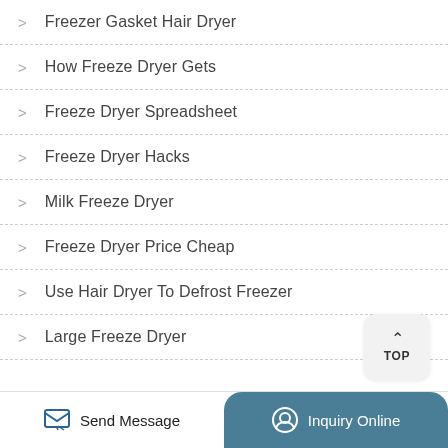Freezer Gasket Hair Dryer
How Freeze Dryer Gets
Freeze Dryer Spreadsheet
Freeze Dryer Hacks
Milk Freeze Dryer
Freeze Dryer Price Cheap
Use Hair Dryer To Defrost Freezer
Large Freeze Dryer
Send Message
Inquiry Online